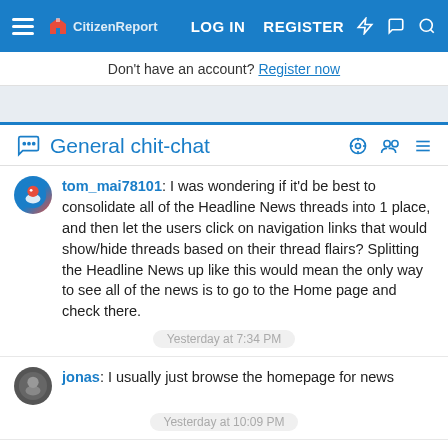LOG IN  REGISTER
Don't have an account? Register now
General chit-chat
tom_mai78101: I was wondering if it'd be best to consolidate all of the Headline News threads into 1 place, and then let the users click on navigation links that would show/hide threads based on their thread flairs? Splitting the Headline News up like this would mean the only way to see all of the news is to go to the Home page and check there.
Yesterday at 7:34 PM
jonas: I usually just browse the homepage for news
Yesterday at 10:09 PM
tom_mai78101: Good to know.
Today at 10:40 AM